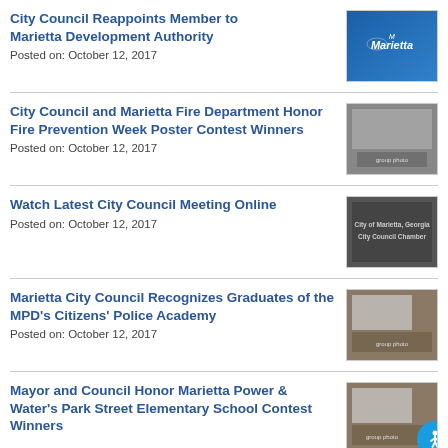City Council Reappoints Member to Marietta Development Authority
Posted on: October 12, 2017
City Council and Marietta Fire Department Honor Fire Prevention Week Poster Contest Winners
Posted on: October 12, 2017
Watch Latest City Council Meeting Online
Posted on: October 12, 2017
Marietta City Council Recognizes Graduates of the MPD's Citizens' Police Academy
Posted on: October 12, 2017
Mayor and Council Honor Marietta Power & Water's Park Street Elementary School Contest Winners